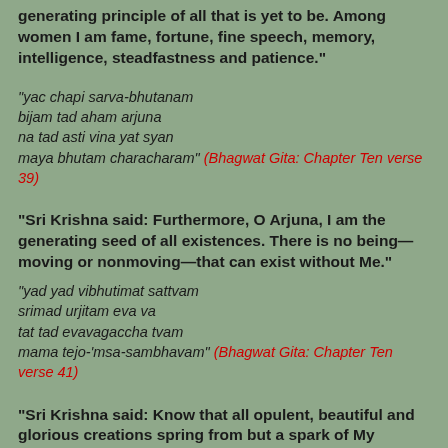generating principle of all that is yet to be. Among women I am fame, fortune, fine speech, memory, intelligence, steadfastness and patience."
"yac chapi sarva-bhutanam bijam tad aham arjuna na tad asti vina yat syan maya bhutam characharam" (Bhagwat Gita: Chapter Ten verse 39)
"Sri Krishna said: Furthermore, O Arjuna, I am the generating seed of all existences. There is no being—moving or nonmoving—that can exist without Me."
"yad yad vibhutimat sattvam srimad urjitam eva va tat tad evavagaccha tvam mama tejo-'msa-sambhavam" (Bhagwat Gita: Chapter Ten verse 41)
"Sri Krishna said: Know that all opulent, beautiful and glorious creations spring from but a spark of My splendor."